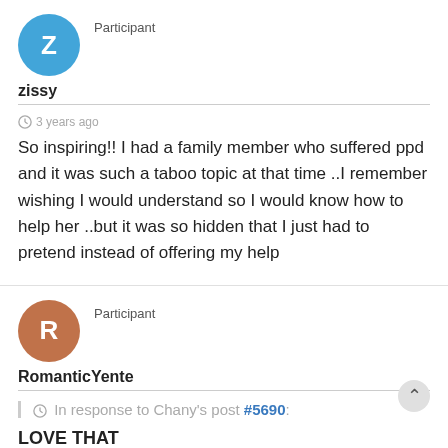Participant
zissy
3 years ago
So inspiring!! I had a family member who suffered ppd and it was such a taboo topic at that time ..I remember wishing I would understand so I would know how to help her ..but it was so hidden that I just had to pretend instead of offering my help
Participant
RomanticYente
In response to Chany's post #5690:
LOVE THAT